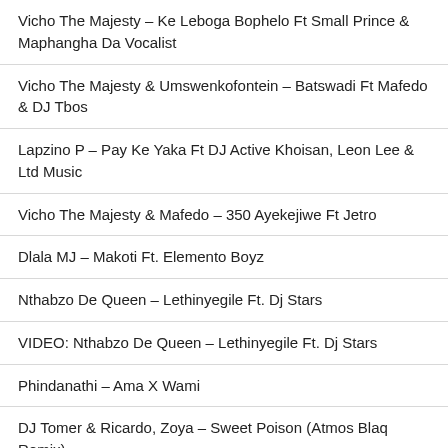Vicho The Majesty – Ke Leboga Bophelo Ft Small Prince & Maphangha Da Vocalist
Vicho The Majesty & Umswenkofontein – Batswadi Ft Mafedo & DJ Tbos
Lapzino P – Pay Ke Yaka Ft DJ Active Khoisan, Leon Lee & Ltd Music
Vicho The Majesty & Mafedo – 350 Ayekejiwe Ft Jetro
Dlala MJ – Makoti Ft. Elemento Boyz
Nthabzo De Queen – Lethinyegile Ft. Dj Stars
VIDEO: Nthabzo De Queen – Lethinyegile Ft. Dj Stars
Phindanathi – Ama X Wami
DJ Tomer & Ricardo, Zoya – Sweet Poison (Atmos Blaq Remix)
Ziki Z – Partying 2.0
DeeVine Music – Ngibambe
Tyler ICU – Top Dawg Sessions (August Edition)